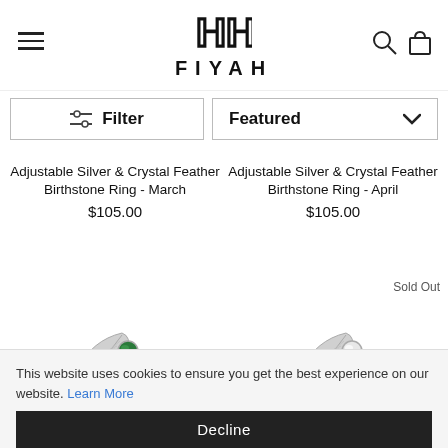FIYAH
Filter
Featured
Adjustable Silver & Crystal Feather Birthstone Ring - March
$105.00
Adjustable Silver & Crystal Feather Birthstone Ring - April
$105.00
[Figure (photo): Silver feather ring with green gemstone (March birthstone)]
[Figure (photo): Silver feather ring with white/clear gemstone (April birthstone) - Sold Out]
This website uses cookies to ensure you get the best experience on our website. Learn More
Decline